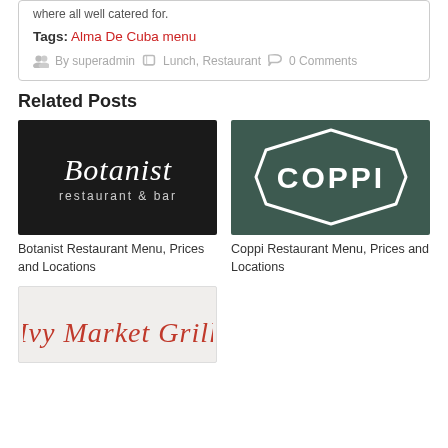where all well catered for.
Tags: Alma De Cuba menu
By superadmin   Lunch, Restaurant   0 Comments
Related Posts
[Figure (logo): Botanist restaurant & bar logo - white script text on black background]
Botanist Restaurant Menu, Prices and Locations
[Figure (logo): Coppi restaurant logo - white bold text inside a hexagonal badge on dark green background]
Coppi Restaurant Menu, Prices and Locations
[Figure (logo): Ivy Market Grill logo - red italic text on light grey/beige background]